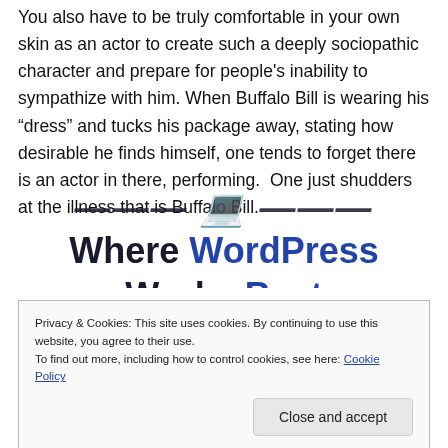You also have to be truly comfortable in your own skin as an actor to create such a deeply sociopathic character and prepare for people's inability to sympathize with him. When Buffalo Bill is wearing his “dress” and tucks his package away, stating how desirable he finds himself, one tends to forget there is an actor in there, performing.  One just shudders at the illness that is Buffalo Bill.
[Figure (other): WordPress.com banner partial: 'The Platform Where WordPress Works Best' with WordPress and Best in blue bold text]
Privacy & Cookies: This site uses cookies. By continuing to use this website, you agree to their use.
To find out more, including how to control cookies, see here: Cookie Policy
Close and accept